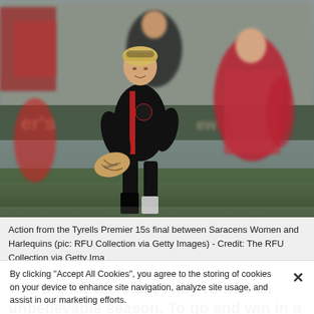[Figure (photo): Rugby match action photo showing a female player in black Saracens kit carrying the ball and breaking through a tackle, with players in red and white Harlequins kit around her. Stadium crowd visible in background.]
Action from the Tyrells Premier 15s final between Saracens Women and Harlequins (pic: RFU Collection via Getty Images) - Credit: The RFU Collection via Getty Ima
“It’s big for the club. They’ve had an unbelievable season. To go and win in a local derby against Quins is
By clicking “Accept All Cookies”, you agree to the storing of cookies on your device to enhance site navigation, analyze site usage, and assist in our marketing efforts.